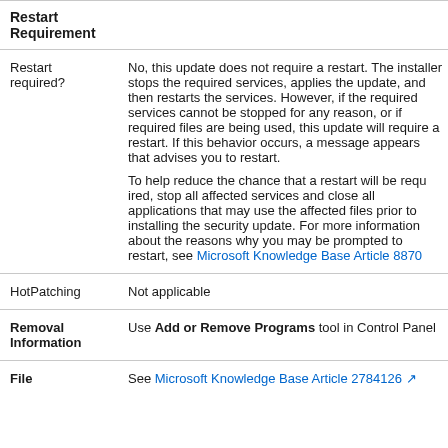| Category | Details |
| --- | --- |
| Restart Requirement |  |
| Restart required? | No, this update does not require a restart. The installer stops the required services, applies the update, and then restarts the services. However, if the required services cannot be stopped for any reason, or if required files are being used, this update will require a restart. If this behavior occurs, a message appears that advises you to restart.

To help reduce the chance that a restart will be required, stop all affected services and close all applications that may use the affected files prior to installing the security update. For more information about the reasons why you may be prompted to restart, see Microsoft Knowledge Base Article 887012. |
| HotPatching | Not applicable |
| Removal Information | Use Add or Remove Programs tool in Control Panel |
| File | See Microsoft Knowledge Base Article 2784126 |